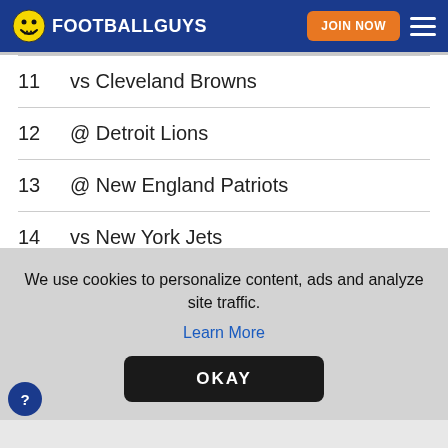FOOTBALLGUYS
| # | Game |
| --- | --- |
| 11 | vs Cleveland Browns |
| 12 | @ Detroit Lions |
| 13 | @ New England Patriots |
| 14 | vs New York Jets |
| 15 | vs Miami Dolphins |
We use cookies to personalize content, ads and analyze site traffic.
Learn More
OKAY